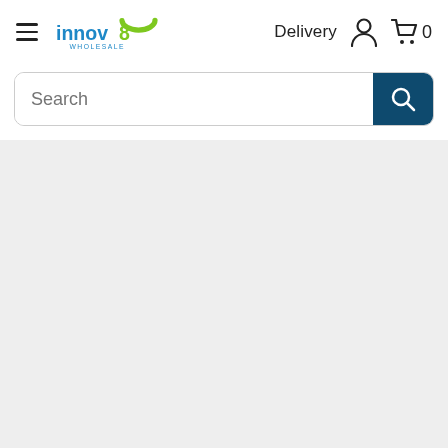[Figure (logo): Innov8 Wholesale logo with green swirl and blue/green text]
Delivery
[Figure (screenshot): Search bar with magnifying glass icon on dark teal background]
[Figure (screenshot): Gray content area below the header and search bar]